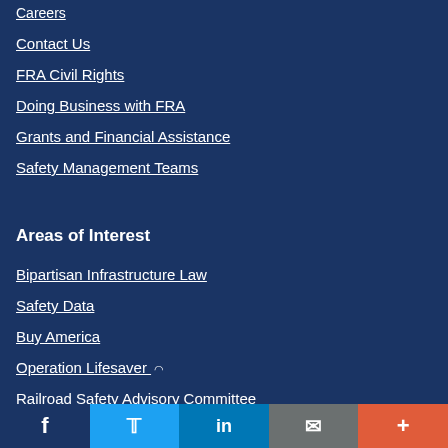Careers
Contact Us
FRA Civil Rights
Doing Business with FRA
Grants and Financial Assistance
Safety Management Teams
Areas of Interest
Bipartisan Infrastructure Law
Safety Data
Buy America
Operation Lifesaver (link is external)
Railroad Safety Advisory Committee
FRA S... (partially visible)
Facebook | Twitter | LinkedIn | Email | More